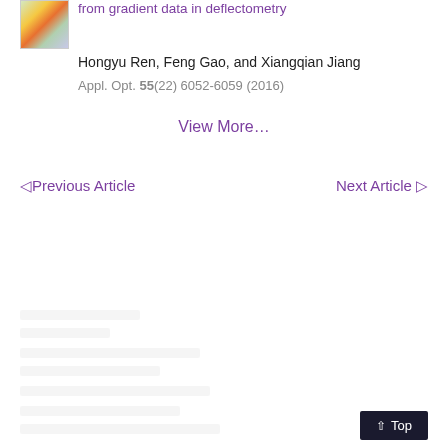[Figure (illustration): Small thumbnail image of a scientific figure with colored regions (green, orange, blue grid-like pattern)]
from gradient data in deflectometry
Hongyu Ren, Feng Gao, and Xiangqian Jiang
Appl. Opt. 55(22) 6052-6059 (2016)
View More...
◁ Previous Article
Next Article ▷